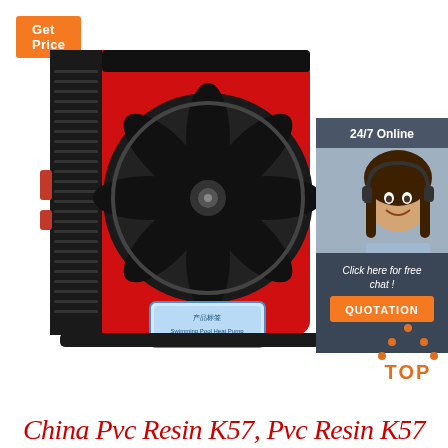Get Price
[Figure (photo): Red heat pump unit with black front fan grille and ventilation slots, blue label at bottom, sitting on a black base. Product photo on white background.]
[Figure (illustration): 24/7 Online chat widget with a smiling female customer service agent wearing a headset, dark gray background, 'Click here for free chat!' text and orange QUOTATION button.]
[Figure (logo): TOP logo with orange dotted triangle/chevron shape above the letters T-O-P in orange.]
China Pvc Resin K57, Pvc Resin K57